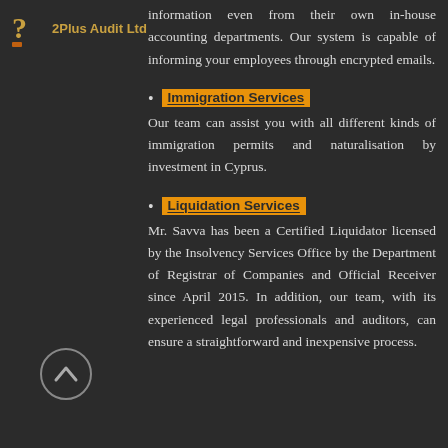[Figure (logo): 2Plus Audit Ltd logo with orange question mark icon and text]
information even from their own in-house accounting departments. Our system is capable of informing your employees through encrypted emails.
Immigration Services — Our team can assist you with all different kinds of immigration permits and naturalisation by investment in Cyprus.
Liquidation Services — Mr. Savva has been a Certified Liquidator licensed by the Insolvency Services Office by the Department of Registrar of Companies and Official Receiver since April 2015. In addition, our team, with its experienced legal professionals and auditors, can ensure a straightforward and inexpensive process.